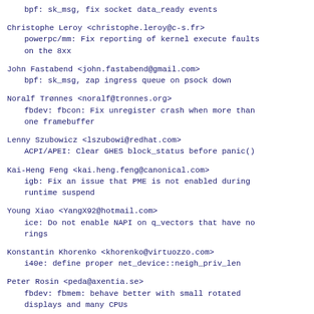bpf: sk_msg, fix socket data_ready events
Christophe Leroy <christophe.leroy@c-s.fr>
    powerpc/mm: Fix reporting of kernel execute faults on the 8xx
John Fastabend <john.fastabend@gmail.com>
    bpf: sk_msg, zap ingress queue on psock down
Noralf Trønnes <noralf@tronnes.org>
    fbdev: fbcon: Fix unregister crash when more than one framebuffer
Lenny Szubowicz <lszubowi@redhat.com>
    ACPI/APEI: Clear GHES block_status before panic()
Kai-Heng Feng <kai.heng.feng@canonical.com>
    igb: Fix an issue that PME is not enabled during runtime suspend
Young Xiao <YangX92@hotmail.com>
    ice: Do not enable NAPI on q_vectors that have no rings
Konstantin Khorenko <khorenko@virtuozzo.com>
    i40e: define proper net_device::neigh_priv_len
Peter Rosin <peda@axentia.se>
    fbdev: fbmem: behave better with small rotated displays and many CPUs